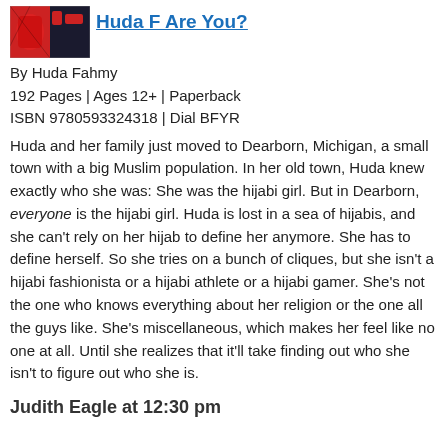[Figure (illustration): Book cover image showing comic-style artwork with red and dark colors, partially visible at top of page]
Huda F Are You?
By Huda Fahmy
192 Pages | Ages 12+ | Paperback
ISBN 9780593324318 | Dial BFYR
Huda and her family just moved to Dearborn, Michigan, a small town with a big Muslim population. In her old town, Huda knew exactly who she was: She was the hijabi girl. But in Dearborn, everyone is the hijabi girl. Huda is lost in a sea of hijabis, and she can't rely on her hijab to define her anymore. She has to define herself. So she tries on a bunch of cliques, but she isn't a hijabi fashionista or a hijabi athlete or a hijabi gamer. She's not the one who knows everything about her religion or the one all the guys like. She's miscellaneous, which makes her feel like no one at all. Until she realizes that it'll take finding out who she isn't to figure out who she is.
Judith Eagle at 12:30 pm